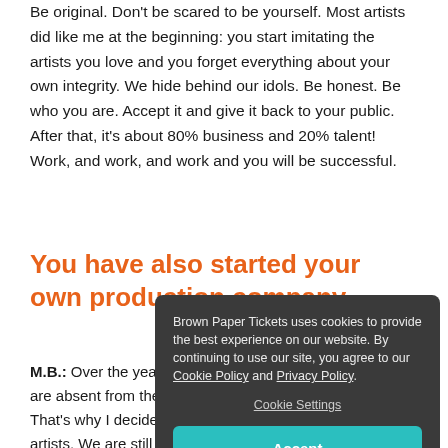Be original. Don't be scared to be yourself. Most artists did like me at the beginning: you start imitating the artists you love and you forget everything about your own integrity. We hide behind our idols. Be honest. Be who you are. Accept it and give it back to your public. After that, it's about 80% business and 20% talent! Work, and work, and work and you will be successful.
You have also started your own production company
M.B.: Over the years I noticed that Franco-Ontario artists are absent from the market and the stage and television. That's why I decided one day to promote them and build artists. We are still at the embryo stage in French
[Figure (screenshot): Cookie consent dialog from Brown Paper Tickets website. Dark grey rounded rectangle overlay containing text: 'Brown Paper Tickets uses cookies to provide the best experience on our website. By continuing to use our site, you agree to our Cookie Policy and Privacy Policy.' Below that a 'Cookie Settings' link and a teal 'Accept' button.]